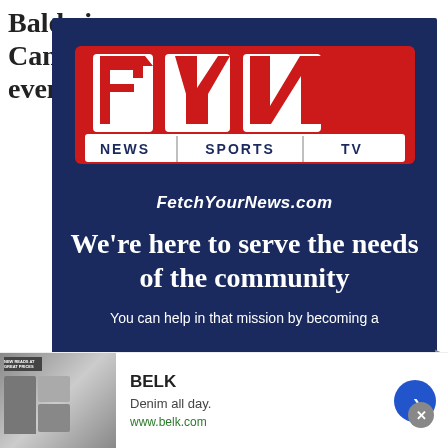Baldwin, Canon, and even Royston
[Figure (logo): FYN (Fetch Your News) advertisement. Dark navy blue background. Large red FYN letters logo at top. Tagline bar: NEWS | SPORTS | TV. URL: FetchYourNews.com. Text: We're here to serve the needs of the community. Bottom text: You can help in that mission by becoming a]
[Figure (other): Belk advertisement banner. Shows clothing image on left. Text: BELK, Denim all day., www.belk.com. Blue circular arrow button on right.]